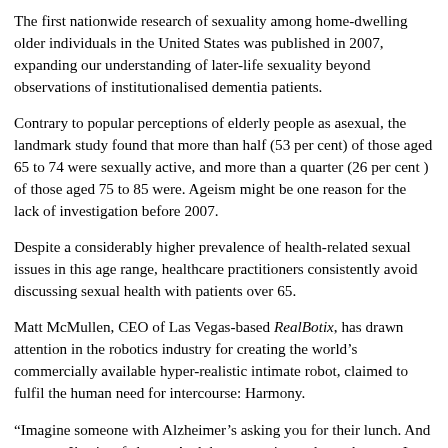The first nationwide research of sexuality among home-dwelling older individuals in the United States was published in 2007, expanding our understanding of later-life sexuality beyond observations of institutionalised dementia patients.
Contrary to popular perceptions of elderly people as asexual, the landmark study found that more than half (53 per cent) of those aged 65 to 74 were sexually active, and more than a quarter (26 per cent ) of those aged 75 to 85 were. Ageism might be one reason for the lack of investigation before 2007.
Despite a considerably higher prevalence of health-related sexual issues in this age range, healthcare practitioners consistently avoid discussing sexual health with patients over 65.
Matt McMullen, CEO of Las Vegas-based RealBotix, has drawn attention in the robotics industry for creating the world's commercially available hyper-realistic intimate robot, claimed to fulfil the human need for intercourse: Harmony.
“Imagine someone with Alzheimer’s asking you for their lunch. And you say, I’ve just fed you. And then two minutes later, they say I need my lunch. And you will repeat But I just fed you lunch. There’s only so many times a human being will be able to say that without getting frustrated or even angry.